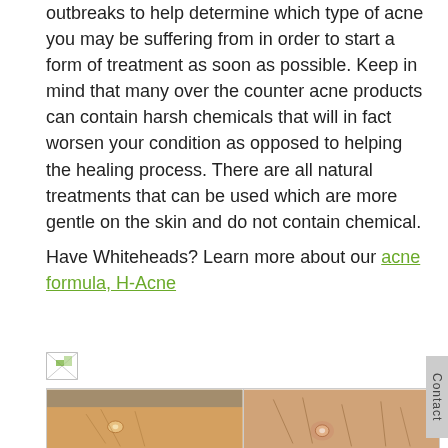outbreaks to help determine which type of acne you may be suffering from in order to start a form of treatment as soon as possible. Keep in mind that many over the counter acne products can contain harsh chemicals that will in fact worsen your condition as opposed to helping the healing process. There are all natural treatments that can be used which are more gentle on the skin and do not contain chemical.
Have Whiteheads? Learn more about our acne formula, H-Acne
[Figure (photo): Broken image placeholder icon (small)]
[Figure (photo): Two side-by-side skin close-up photographs showing whitehead acne lesions on skin]